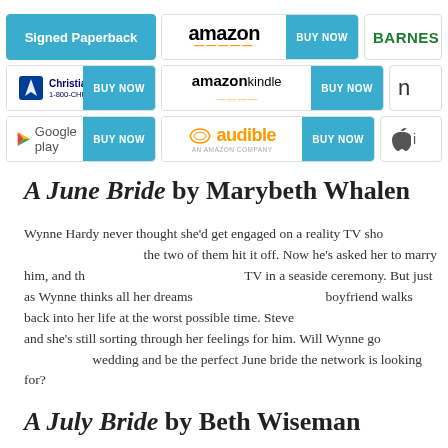[Figure (screenshot): Row of purchase buttons: Signed Paperback, Amazon BUY NOW, BARNES (partial)]
[Figure (screenshot): Row of purchase buttons: Christianbook.com BUY NOW, Amazon Kindle BUY NOW, n (partial)]
[Figure (screenshot): Row of purchase buttons: Google Play BUY NOW, Audible BUY NOW, Apple (partial)]
A June Bride by Marybeth Whalen
Wynne Hardy never thought she'd get engaged on a reality TV show, but when she was cast on The Proposal and the two of them hit it off. Now he's asked her to marry him, and the wedding is to be filmed for TV in a seaside ceremony. But just as Wynne thinks all her dreams are coming true, her ex-boyfriend walks back into her life at the worst possible time. Steve broke her heart before, and she's still sorting through her feelings for him. Will Wynne go through with the TV wedding and be the perfect June bride the network is looking for?
A July Bride by Beth Wiseman